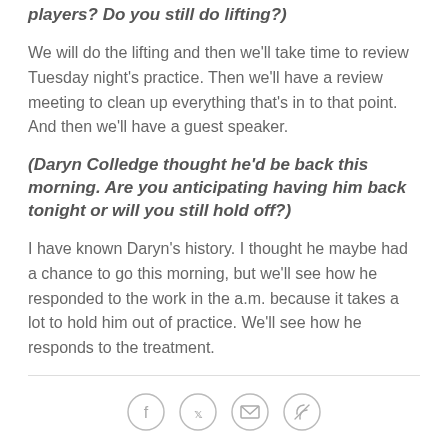players? Do you still do lifting?)
We will do the lifting and then we'll take time to review Tuesday night's practice. Then we'll have a review meeting to clean up everything that's in to that point. And then we'll have a guest speaker.
(Daryn Colledge thought he'd be back this morning. Are you anticipating having him back tonight or will you still hold off?)
I have known Daryn's history. I thought he maybe had a chance to go this morning, but we'll see how he responded to the work in the a.m. because it takes a lot to hold him out of practice. We'll see how he responds to the treatment.
[Figure (other): Social sharing icons: Facebook, Twitter, Email, Link]